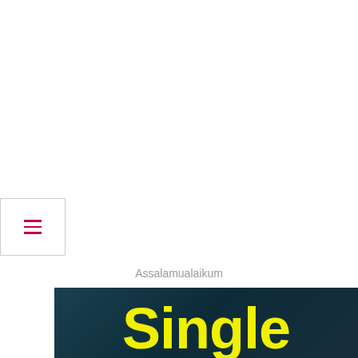[Figure (other): Hamburger menu button icon with three horizontal red lines on white background with border]
Assalamualaikum
[Figure (illustration): Dark teal/blue textured background with motivational quote. Large yellow bold text 'Single' at top, followed by white text: 'Isn't a status. But it's a word that describes a person who is strong enough to live and enjoy life']